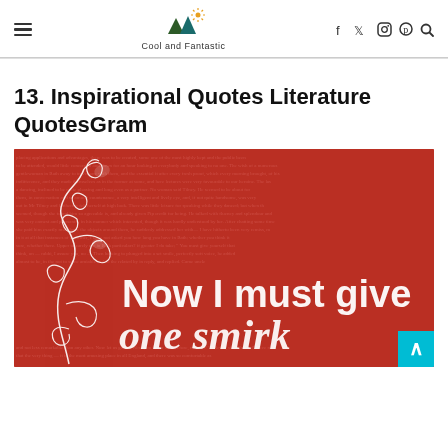Cool and Fantastic
13. Inspirational Quotes Literature QuotesGram
[Figure (illustration): Red background image with white decorative floral scroll design on left and large white handwritten and printed text reading 'Now I must give one smirk' overlaid on dense small red text from a book. A cyan 'back to top' arrow button appears in the bottom-right corner.]